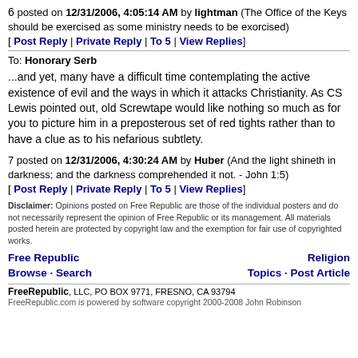6 posted on 12/31/2006, 4:05:14 AM by lightman (The Office of the Keys should be exercised as some ministry needs to be exorcised)
[ Post Reply | Private Reply | To 5 | View Replies]
To: Honorary Serb
...and yet, many have a difficult time contemplating the active existence of evil and the ways in which it attacks Christianity. As CS Lewis pointed out, old Screwtape would like nothing so much as for you to picture him in a preposterous set of red tights rather than to have a clue as to his nefarious subtlety.
7 posted on 12/31/2006, 4:30:24 AM by Huber (And the light shineth in darkness; and the darkness comprehended it not. - John 1:5)
[ Post Reply | Private Reply | To 5 | View Replies]
Disclaimer: Opinions posted on Free Republic are those of the individual posters and do not necessarily represent the opinion of Free Republic or its management. All materials posted herein are protected by copyright law and the exemption for fair use of copyrighted works.
Free Republic | Browse · Search | Religion | Topics · Post Article | FreeRepublic, LLC, PO BOX 9771, FRESNO, CA 93794 | FreeRepublic.com is powered by software copyright 2000-2008 John Robinson